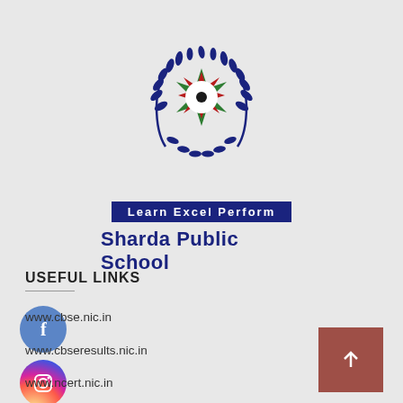[Figure (logo): Sharda Public School emblem with laurel wreath and star design, with motto banner 'Learn Excel Perform' and school name below]
[Figure (logo): Facebook social media icon - blue circle with white 'f' letter]
[Figure (logo): Instagram social media icon - gradient circle with camera outline]
[Figure (logo): YouTube social media icon - red circle with white play button]
USEFUL LINKS
www.cbse.nic.in
www.cbseresults.nic.in
www.ncert.nic.in